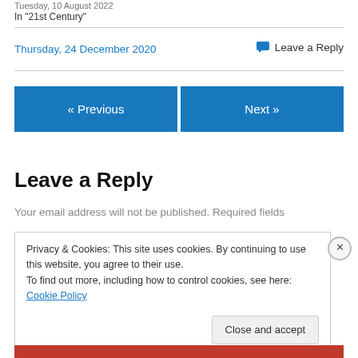Tuesday, 10 August 2022
In "21st Century"
Thursday, 24 December 2020
Leave a Reply
« Previous
Next »
Leave a Reply
Your email address will not be published. Required fields
Privacy & Cookies: This site uses cookies. By continuing to use this website, you agree to their use.
To find out more, including how to control cookies, see here: Cookie Policy
Close and accept